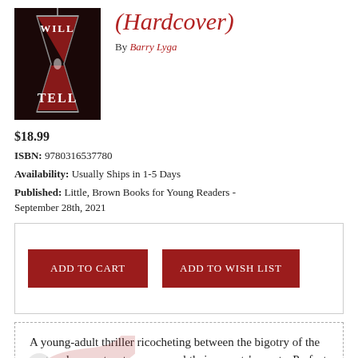[Figure (photo): Book cover for 'Will Tell' by Barry Lyga showing an hourglass with red sand on a dark background]
(Hardcover)
By Barry Lyga
$18.99
ISBN: 9780316537780
Availability: Usually Ships in 1-5 Days
Published: Little, Brown Books for Young Readers - September 28th, 2021
ADD TO CART | ADD TO WISH LIST
A young-adult thriller ricocheting between the bigotry of the past and present as teens unravel their parents' secrets. Perfect for fans of One of